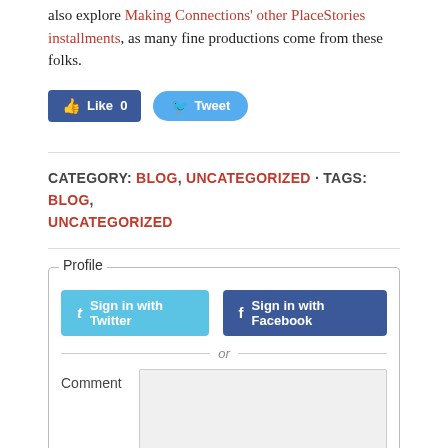also explore Making Connections' other PlaceStories installments, as many fine productions come from these folks.
[Figure (screenshot): Facebook Like button (blue, count 0) and Twitter Tweet button (cyan rounded)]
CATEGORY: BLOG, UNCATEGORIZED · TAGS: BLOG, UNCATEGORIZED
Profile section with Sign in with Twitter and Sign in with Facebook buttons, an 'or' divider, and a Comment text area